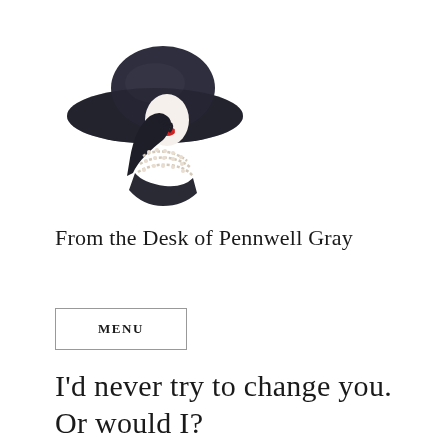[Figure (illustration): Stylized illustration of a woman wearing a large wide-brimmed black hat, with red lips visible, gloved hand raised to face, and pearl necklace draped around neck/chest. Black and white with red lip accent.]
From the Desk of Pennwell Gray
MENU
I'd never try to change you. Or would I?